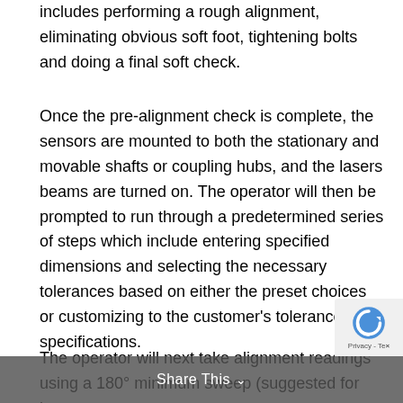includes performing a rough alignment, eliminating obvious soft foot, tightening bolts and doing a final soft check.
Once the pre-alignment check is complete, the sensors are mounted to both the stationary and movable shafts or coupling hubs, and the lasers beams are turned on. The operator will then be prompted to run through a predetermined series of steps which include entering specified dimensions and selecting the necessary tolerances based on either the preset choices or customizing to the customer's tolerance specifications.
The operator will next take alignment readings using a 180° minimum sweep (suggested for best